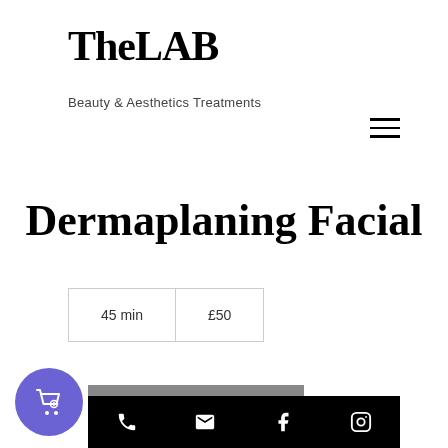TheLAB
Beauty & Aesthetics Treatments
Dermaplaning Facial
| 45 min | £50 |
Book Now